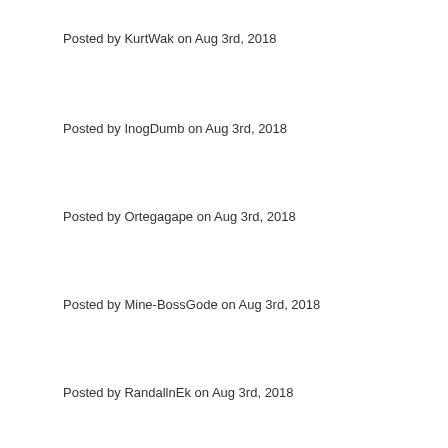Posted by KurtWak on Aug 3rd, 2018
Posted by InogDumb on Aug 3rd, 2018
Posted by Ortegagape on Aug 3rd, 2018
Posted by Mine-BossGode on Aug 3rd, 2018
Posted by RandallnEk on Aug 3rd, 2018
Posted by UgoGano on Aug 3rd, 2018
Posted by KurtWak on Aug 3rd, 2018
Posted by list of new direct lenders on Aug 3rd, 2018
Posted by UgoGano on Aug 3rd, 2018
Posted by OelkGAT on Aug 3rd, 2018
Posted by FordEa on Aug 3rd, 2018
Posted by BodvEntex on Aug 3rd, 2018